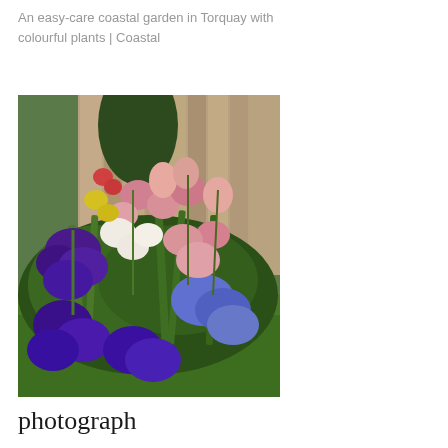An easy-care coastal garden in Torquay with colourful plants | Coastal
[Figure (photo): A colorful garden border with purple irises, pink and white flowers, tulips, and other blooms in front of a weathered wooden fence with green lawn in the foreground.]
photograph
Great Landscaping Tips For Easy Home Projects! | Iris flowers